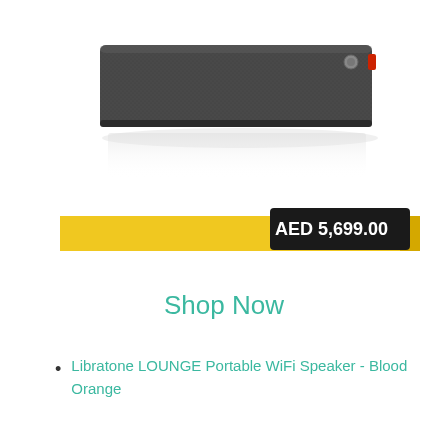[Figure (photo): Libratone LOUNGE portable WiFi speaker in dark grey/charcoal fabric finish, horizontal rectangular bar shape with a small red accent on the right side, shown with a subtle reflection beneath it]
[Figure (other): Yellow/golden horizontal banner with a black price tag badge showing 'AED 5,699.00' in white text on the right side]
Shop Now
Libratone LOUNGE Portable WiFi Speaker - Blood Orange